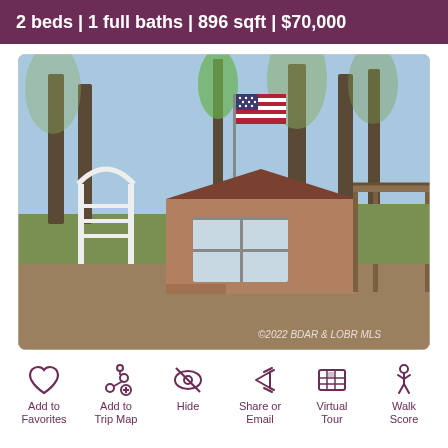2 beds | 1 full baths | 896 sqft | $70,000
[Figure (photo): Exterior photo of a small mobile/manufactured home with wood siding, a white garden arch, an American flag on a flagpole, and a carport on the right. Bare trees visible in the background. Watermark reads: ©2022 BDAR & LOBR MLS]
Add to Favorites
Add to Trip Map
Hide
Share or Email
Virtual Tour
Walk Score